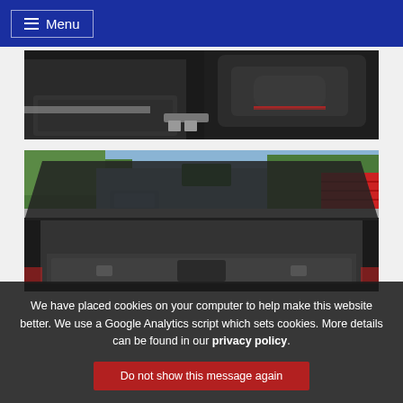≡ Menu
[Figure (photo): Car interior showing dark floor mats and dark upholstered seat with red stitching]
[Figure (photo): Car boot/trunk open view from behind, showing empty boot interior with boot lid raised, parking lot and trees visible in background]
We have placed cookies on your computer to help make this website better. We use a Google Analytics script which sets cookies. More details can be found in our privacy policy.
Do not show this message again